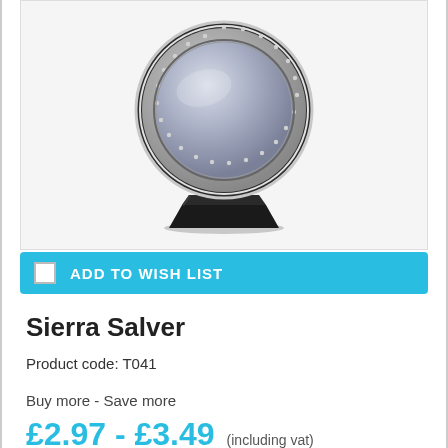[Figure (photo): Silver circular salver/tray trophy on a black pedestal base, with decorative beaded border around the rim]
ADD TO WISH LIST
Sierra Salver
Product code: T041
Buy more - Save more
£2.97 - £3.49 (including vat)